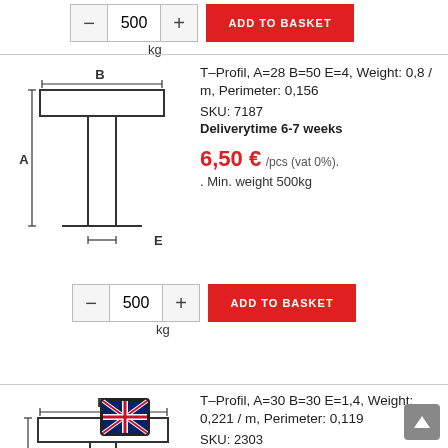[Figure (schematic): T-profile engineering diagram showing dimensions A (height), B (width), E (flange thickness) — partial view at top]
kg
[Figure (schematic): T-profile engineering diagram showing dimensions A (height), B (width flange), E (web thickness)]
T-Profil, A=28 B=50 E=4, Weight: 0,8 / m, Perimeter: 0,156
SKU: 7187
Deliverytime 6-7 weeks
6,50 € /pcs (vat 0%). . Min. weight 500kg
[Figure (schematic): T-profile engineering diagram showing dimensions A (height), B (width flange), E (web thickness) for second product]
T-Profil, A=30 B=30 E=1,4, Weight: 0,221 / m, Perimeter: 0,119
SKU: 2303
Deliverytime 6-7 weeks
6,50 € /pcs (vat 0%). . Min. weight 500kg